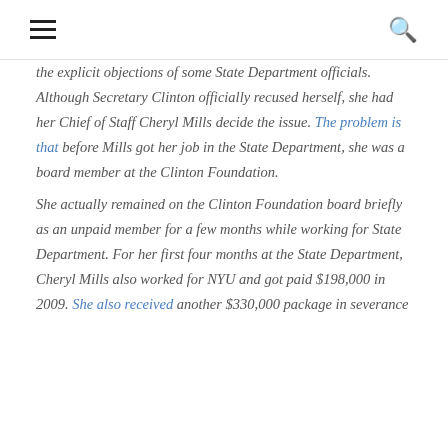≡ 🔍
the explicit objections of some State Department officials. Although Secretary Clinton officially recused herself, she had her Chief of Staff Cheryl Mills decide the issue. The problem is that before Mills got her job in the State Department, she was a board member at the Clinton Foundation. She actually remained on the Clinton Foundation board briefly as an unpaid member for a few months while working for State Department. For her first four months at the State Department, Cheryl Mills also worked for NYU and got paid $198,000 in 2009. She also received another $330,000 package in severance